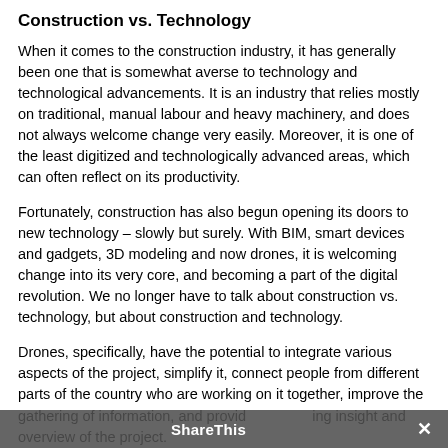Construction vs. Technology
When it comes to the construction industry, it has generally been one that is somewhat averse to technology and technological advancements. It is an industry that relies mostly on traditional, manual labour and heavy machinery, and does not always welcome change very easily. Moreover, it is one of the least digitized and technologically advanced areas, which can often reflect on its productivity.
Fortunately, construction has also begun opening its doors to new technology – slowly but surely. With BIM, smart devices and gadgets, 3D modeling and now drones, it is welcoming change into its very core, and becoming a part of the digital revolution. We no longer have to talk about construction vs. technology, but about construction and technology.
Drones, specifically, have the potential to integrate various aspects of the project, simplify it, connect people from different parts of the country who are working on it together, improve the gathering of information, and providing insight and overview of the project.